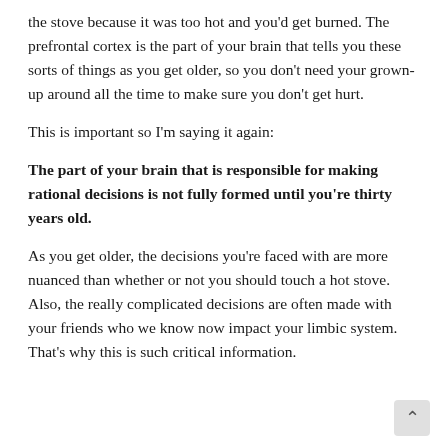the stove because it was too hot and you'd get burned. The prefrontal cortex is the part of your brain that tells you these sorts of things as you get older, so you don't need your grown-up around all the time to make sure you don't get hurt.
This is important so I'm saying it again:
The part of your brain that is responsible for making rational decisions is not fully formed until you're thirty years old.
As you get older, the decisions you're faced with are more nuanced than whether or not you should touch a hot stove. Also, the really complicated decisions are often made with your friends who we know now impact your limbic system. That's why this is such critical information.